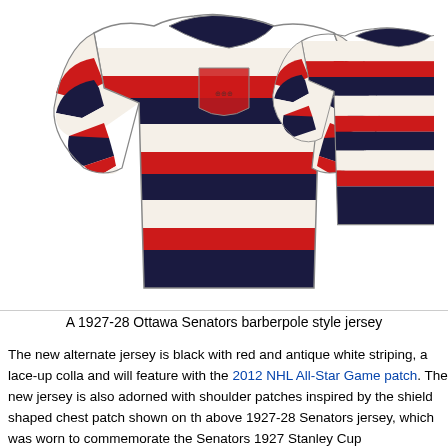[Figure (photo): Two 1927-28 Ottawa Senators barberpole style hockey jerseys shown front and back. Jerseys have horizontal stripes of black, red, and antique white. The front jersey has a shield-shaped chest patch.]
A 1927-28 Ottawa Senators barberpole style jersey
The new alternate jersey is black with red and antique white striping, a lace-up colla and will feature with the 2012 NHL All-Star Game patch. The new jersey is also adorned with shoulder patches inspired by the shield shaped chest patch shown on th above 1927-28 Senators jersey, which was worn to commemorate the Senators 1927 Stanley Cup championship. The patch on the right shoulder of the new jersey is in